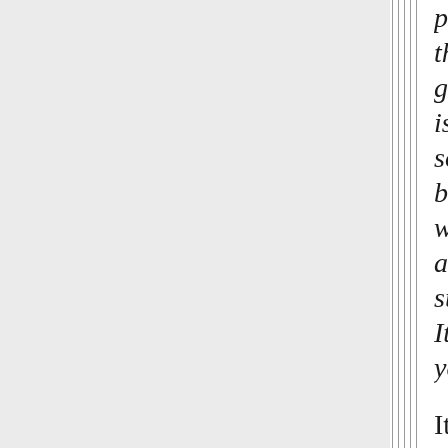put it to you that the hunter-gatherer system is the only one so far shown to be compatible with survival and sustainability. It's just not to your taste."
It is self-evident that if we are just another omnivore animal without any of the fancy stuff, we survive or get extinct as any